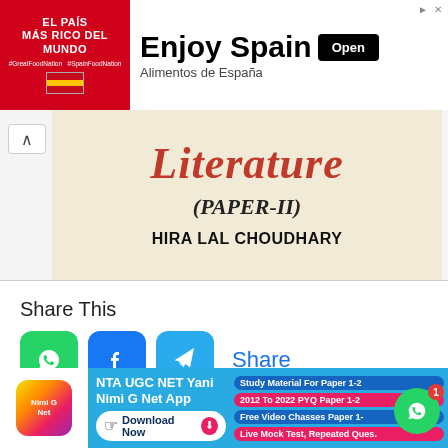[Figure (screenshot): Advertisement banner for Enjoy Spain / Alimentos de España with red box containing 'El País Más Rico del Mundo' text and Spanish flag, alongside bold text 'Enjoy Spain', subtitle 'Alimentos de España', and an 'Open' button]
[Figure (photo): Book cover photo showing the word 'Literature' in large red letters, subtitle '(PAPER-II)' in bold italic, and author name 'HIRA LAL CHOUDHARY' in bold]
Share This
[Figure (screenshot): Share icons row: WhatsApp (green), Facebook (blue), Telegram (blue), and text link 'Share']
[Figure (screenshot): Bottom advertisement banner for NTA UGC NET Yani Nimi G Net App with download button and feature pills: Study Material For Paper 1-2, 2012 To 2022 PYQ Paper 1-2, Free Video Chasses Paper 1-, Live Mock Test, Repeated Ques.]